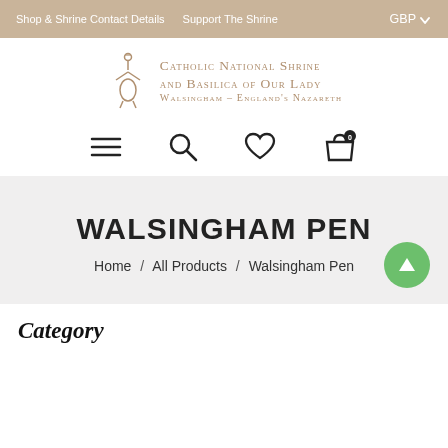Shop & Shrine Contact Details  Support The Shrine  GBP
[Figure (logo): Catholic National Shrine and Basilica of Our Lady, Walsingham - England's Nazareth logo with decorative crown and figure symbol]
[Figure (infographic): Navigation icons: hamburger menu, search magnifier, heart/wishlist, shopping bag with 0 badge]
WALSINGHAM PEN
Home / All Products / Walsingham Pen
Category